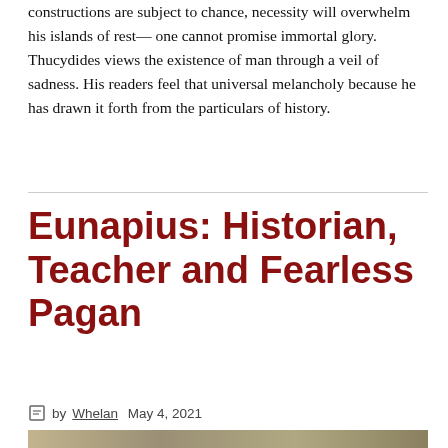constructions are subject to chance, necessity will overwhelm his islands of rest— one cannot promise immortal glory. Thucydides views the existence of man through a veil of sadness. His readers feel that universal melancholy because he has drawn it forth from the particulars of history.
Eunapius: Historian, Teacher and Fearless Pagan
by Whelan May 4, 2021
[Figure (photo): A historical photograph or illustration, partially visible at the bottom of the page, with muted earthy tones.]